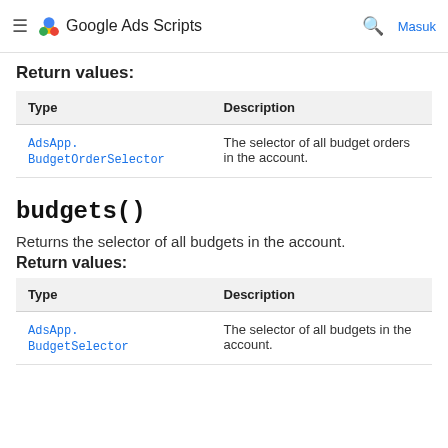Google Ads Scripts  Masuk
Return values:
| Type | Description |
| --- | --- |
| AdsApp.BudgetOrderSelector | The selector of all budget orders in the account. |
budgets()
Returns the selector of all budgets in the account.
Return values:
| Type | Description |
| --- | --- |
| AdsApp.BudgetSelector | The selector of all budgets in the account. |